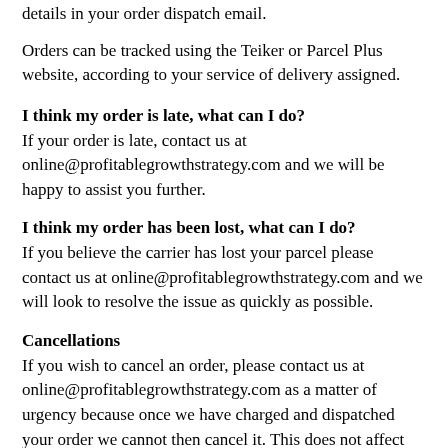details in your order dispatch email.
Orders can be tracked using the Teiker or Parcel Plus website, according to your service of delivery assigned.
I think my order is late, what can I do?
If your order is late, contact us at online@profitablegrowthstrategy.com and we will be happy to assist you further.
I think my order has been lost, what can I do?
If you believe the carrier has lost your parcel please contact us at online@profitablegrowthstrategy.com and we will look to resolve the issue as quickly as possible.
Cancellations
If you wish to cancel an order, please contact us at online@profitablegrowthstrategy.com as a matter of urgency because once we have charged and dispatched your order we cannot then cancel it. This does not affect your rights to return damaged, defective or incorrect items.